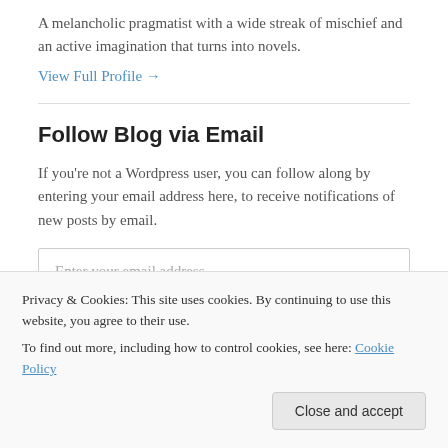A melancholic pragmatist with a wide streak of mischief and an active imagination that turns into novels.
View Full Profile →
Follow Blog via Email
If you're not a Wordpress user, you can follow along by entering your email address here, to receive notifications of new posts by email.
Enter your email address
Privacy & Cookies: This site uses cookies. By continuing to use this website, you agree to their use.
To find out more, including how to control cookies, see here: Cookie Policy
Close and accept